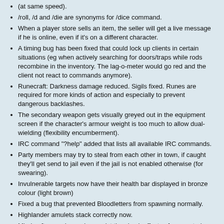(at same speed).
/roll, /d and /die are synonyms for /dice command.
When a player store sells an item, the seller will get a live message if he is online, even if it's on a different character.
A timing bug has been fixed that could lock up clients in certain situations (eg when actively searching for doors/traps while rods recombine in the inventory. The lag-o-meter would go red and the client not react to commands anymore).
Runecraft: Darkness damage reduced. Sigils fixed. Runes are required for more kinds of action and especially to prevent dangerous backlashes.
The secondary weapon gets visually greyed out in the equipment screen if the character's armour weight is too much to allow dual-wielding (flexibility encumberment).
IRC command "?help" added that lists all available IRC commands.
Party members may try to steal from each other in town, if caught they'll get send to jail even if the jail is not enabled otherwise (for swearing).
Invulnerable targets now have their health bar displayed in bronze colour (light brown)
Fixed a bug that prevented Bloodletters from spawning normally.
Highlander amulets stack correctly now.
Mindcrafters and vampires resist the shock effects of encountering an ELDRITCH_HORROR greatly. Undead/weird/empty mind forms somewhat.